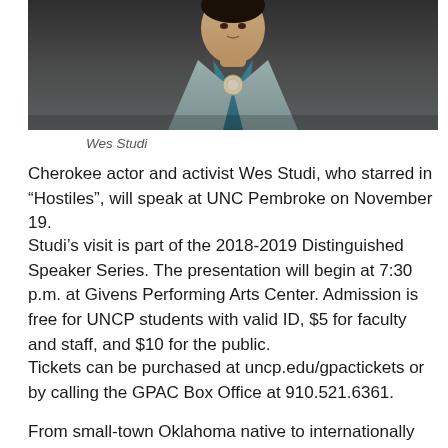[Figure (photo): Portrait photo of Wes Studi, cropped at top showing torso, wearing gray jacket and teal shirt with decorative medallion necklace]
Wes Studi
Cherokee actor and activist Wes Studi, who starred in “Hostiles”, will speak at UNC Pembroke on November 19.
Studi’s visit is part of the 2018-2019 Distinguished Speaker Series. The presentation will begin at 7:30 p.m. at Givens Performing Arts Center. Admission is free for UNCP students with valid ID, $5 for faculty and staff, and $10 for the public.
Tickets can be purchased at uncp.edu/gpactickets or by calling the GPAC Box Office at 910.521.6361.
From small-town Oklahoma native to internationally acclaimed actor and musician, Studi credits his passion